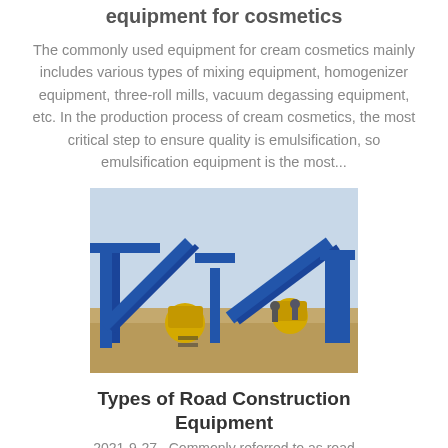Commonly used production equipment for cosmetics
The commonly used equipment for cream cosmetics mainly includes various types of mixing equipment, homogenizer equipment, three-roll mills, vacuum degassing equipment, etc. In the production process of cream cosmetics, the most critical step to ensure quality is emulsification, so emulsification equipment is the most...
[Figure (photo): Industrial road construction equipment including blue conveyor belts, yellow machinery and processing units on a construction site with hazy sky background]
Types of Road Construction Equipment
2021-9-27 · Commonly referred to as road